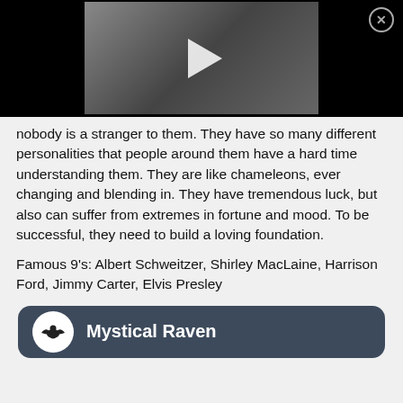[Figure (screenshot): Video thumbnail with a woman sitting; black background with play button overlay and close (X) button in top-right corner]
nobody is a stranger to them. They have so many different personalities that people around them have a hard time understanding them. They are like chameleons, ever changing and blending in. They have tremendous luck, but also can suffer from extremes in fortune and mood. To be successful, they need to build a loving foundation.
Famous 9's: Albert Schweitzer, Shirley MacLaine, Harrison Ford, Jimmy Carter, Elvis Presley
[Figure (logo): Mystical Raven branding bar: dark slate rounded rectangle with white raven icon in circle on left and 'Mystical Raven' white bold text]